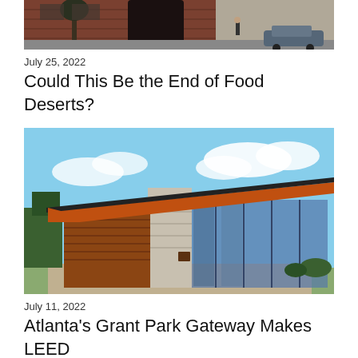[Figure (photo): Street-level photo of a brick building exterior with a car parked on the right and a pedestrian walking near the entrance.]
July 25, 2022
Could This Be the End of Food Deserts?
[Figure (photo): Modern angular building with an orange/wood-paneled sloping roofline, stone pillar, and glass facade under a blue sky with clouds.]
July 11, 2022
Atlanta's Grant Park Gateway Makes LEED